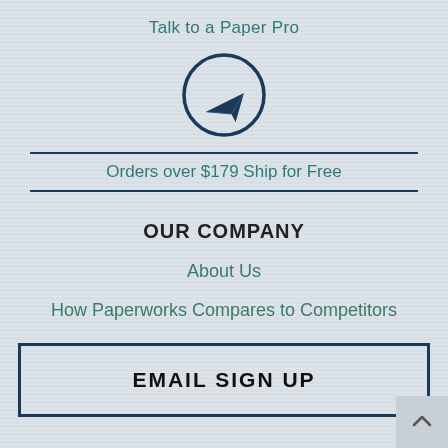Talk to a Paper Pro
[Figure (illustration): Paper airplane icon inside a circle, dark teal/navy color]
Orders over $179 Ship for Free
OUR COMPANY
About Us
How Paperworks Compares to Competitors
EMAIL SIGN UP